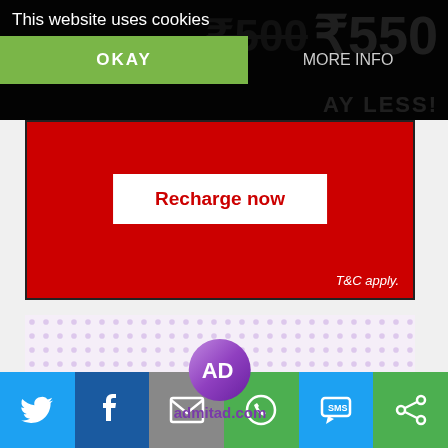[Figure (screenshot): Cookie consent overlay on a dark background with price numbers ₹500 and ₹550 visible behind. Shows 'This website uses cookies' text with OKAY (green) and MORE INFO buttons.]
[Figure (screenshot): Red advertisement banner with 'Recharge now' white button and 'T&C apply.' text at bottom right.]
[Figure (screenshot): Admitad.com advertisement with purple dot pattern background, circular admitad logo, and 'admitad.com' text.]
[Figure (screenshot): Social sharing bar with Twitter (blue), Facebook (dark blue), Email (gray), WhatsApp (green), SMS (blue), and share (green) icon buttons.]